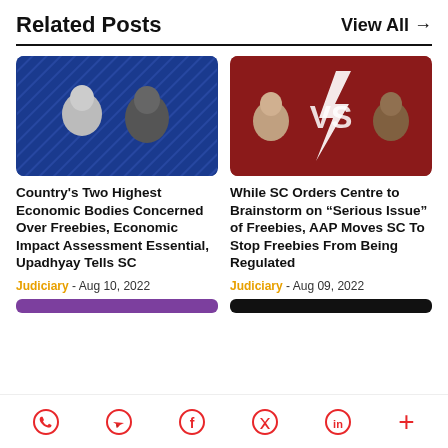Related Posts
View All →
[Figure (photo): Two political figures on blue background]
Country's Two Highest Economic Bodies Concerned Over Freebies, Economic Impact Assessment Essential, Upadhyay Tells SC
Judiciary - Aug 10, 2022
[Figure (photo): Two political figures with 'VS' graphic on red background]
While SC Orders Centre to Brainstorm on "Serious Issue" of Freebies, AAP Moves SC To Stop Freebies From Being Regulated
Judiciary - Aug 09, 2022
WhatsApp Telegram Facebook Twitter LinkedIn +